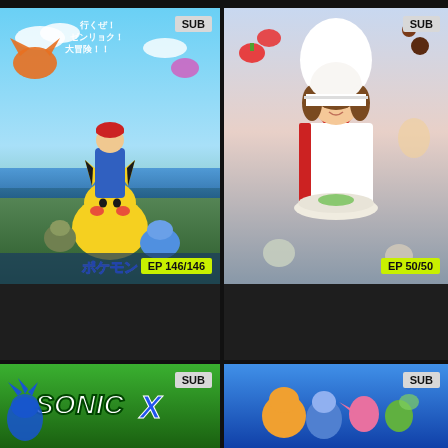[Figure (screenshot): Anime streaming service grid showing 4 show cards: Pokemon the Series: Sun & Moon, Yumeiro Patissiere, Sonic X (partial), and a Digimon series (partial)]
SUB
EP 146/146
Pokémon the Series: Sun & Moon
TV • 25 min/ep • EP 146/146
SUB
EP 50/50
Yumeiro Patissiere
TV • 25 min/ep • EP 50/50
SUB
SUB